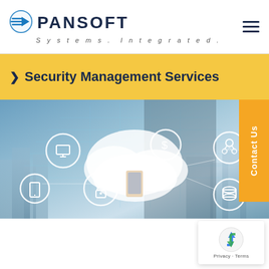PANSOFT Systems. Integrated.
Security Management Services
[Figure (photo): Hero image showing a businessman holding a smartphone with digital cloud computing and security icons overlaid, including a monitor, dollar sign, lock, mobile phone, database, and network/user icon, set against a city skyline background with circuit-board line patterns.]
[Figure (other): reCAPTCHA badge showing the Google reCAPTCHA logo with Privacy and Terms links.]